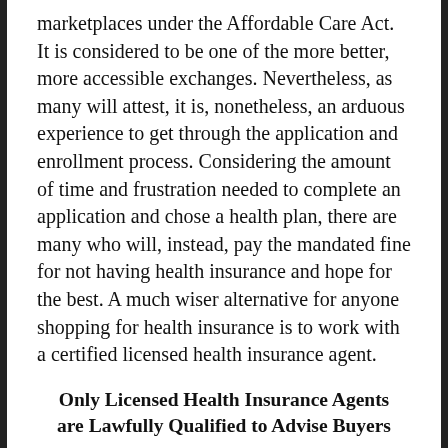marketplaces under the Affordable Care Act. It is considered to be one of the more better, more accessible exchanges. Nevertheless, as many will attest, it is, nonetheless, an arduous experience to get through the application and enrollment process. Considering the amount of time and frustration needed to complete an application and chose a health plan, there are many who will, instead, pay the mandated fine for not having health insurance and hope for the best. A much wiser alternative for anyone shopping for health insurance is to work with a certified licensed health insurance agent.
Only Licensed Health Insurance Agents are Lawfully Qualified to Advise Buyers
Unlike the Covered California enrollment